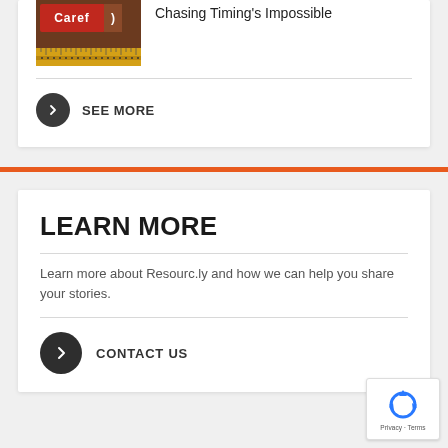[Figure (photo): Thumbnail image showing a sign with 'Caret' text and a ruler/measuring tape below it]
Chasing Timing's Impossible
SEE MORE
LEARN MORE
Learn more about Resourc.ly and how we can help you share your stories.
CONTACT US
[Figure (logo): reCAPTCHA badge with Google logo and Privacy · Terms text]